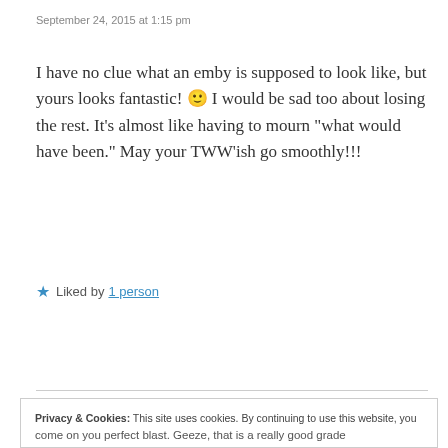September 24, 2015 at 1:15 pm
I have no clue what an emby is supposed to look like, but yours looks fantastic! 🙂 I would be sad too about losing the rest. It's almost like having to mourn “what would have been.” May your TWW’ish go smoothly!!!
Liked by 1 person
Reply
Privacy & Cookies: This site uses cookies. By continuing to use this website, you agree to their use. To find out more, including how to control cookies, see here: Cookie Policy
Close and accept
come on you perfect blast. Geeze, that is a really good grade